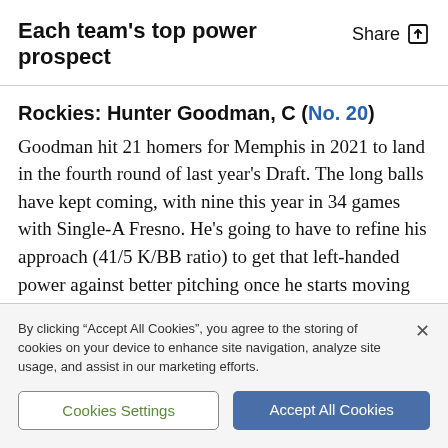Each team's top power prospect
Rockies: Hunter Goodman, C (No. 20)
Goodman hit 21 homers for Memphis in 2021 to land in the fourth round of last year’s Draft. The long balls have kept coming, with nine this year in 34 games with Single-A Fresno. He’s going to have to refine his approach (41/5 K/BB ratio) to get that left-handed power against better pitching once he starts moving
By clicking “Accept All Cookies”, you agree to the storing of cookies on your device to enhance site navigation, analyze site usage, and assist in our marketing efforts.
Cookies Settings
Accept All Cookies